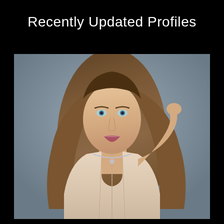Recently Updated Profiles
[Figure (photo): Portrait photo of a young woman with long light brown hair, blue eyes, wearing a cream/beige corset top and a necklace, posed against a grey studio background with her right hand raised near her hair.]